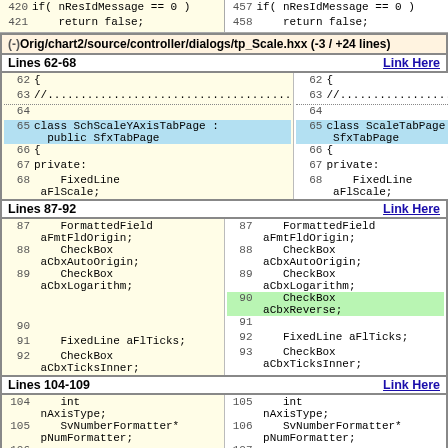| Line# | Code (orig) | Line# | Code (new) |
| --- | --- | --- | --- |
| 420 | if( nResIdMessage == 0 ) | 457 | if( nResIdMessage == 0 ) |
| 421 | return false; | 458 | return false; |
(-)Orig/chart2/source/controller/dialogs/tp_Scale.hxx (-3 / +24 lines)
Lines 62-68   Link Here
| Line# | Code Left | Line# | Code Right |
| --- | --- | --- | --- |
| 62 | { | 62 | { |
| 63 | //.................................... | 63 | //.................................... |
| 64 |  | 64 |  |
| 65 | class SchScaleYAxisTabPage : public SfxTabPage | 65 | class ScaleTabPage : public SfxTabPage |
| 66 | { | 66 | { |
| 67 | private: | 67 | private: |
| 68 | FixedLine aFlScale; | 68 | FixedLine aFlScale; |
Lines 87-92   Link Here
| Line# | Code Left | Line# | Code Right |
| --- | --- | --- | --- |
| 87 | FormattedField aFmtFldOrigin; | 87 | FormattedField aFmtFldOrigin; |
| 88 | CheckBox aCbxAutoOrigin; | 88 | CheckBox aCbxAutoOrigin; |
| 89 | CheckBox aCbxLogarithm; | 89 | CheckBox aCbxLogarithm; |
|  |  | 90 | CheckBox aCbxReverse; |
| 90 |  | 91 |  |
| 91 | FixedLine aFlTicks; | 92 | FixedLine aFlTicks; |
| 92 | CheckBox aCbxTicksInner; | 93 | CheckBox aCbxTicksInner; |
Lines 104-109   Link Here
| Line# | Code Left | Line# | Code Right |
| --- | --- | --- | --- |
| 104 | int nAxisType; | 105 | int nAxisType; |
| 105 | SvNumberFormatter* pNumFormatter; | 106 | SvNumberFormatter* pNumFormatter; |
| 106 |  | 107 |  |